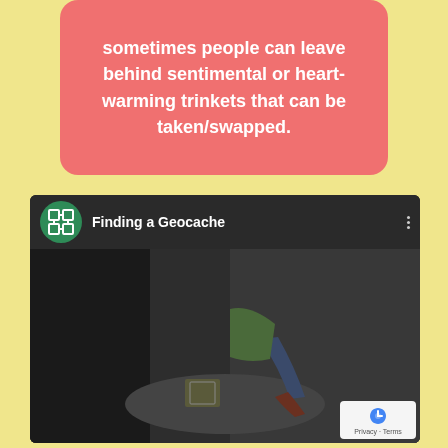sometimes people can leave behind sentimental or heart-warming trinkets that can be taken/swapped.
[Figure (screenshot): YouTube video embed showing 'Finding a Geocache' with a geocaching logo (green circle with white map icon), a thumbnail of a person sitting near a geocache box, a red YouTube play button, and a reCAPTCHA Privacy-Terms badge in the bottom right corner.]